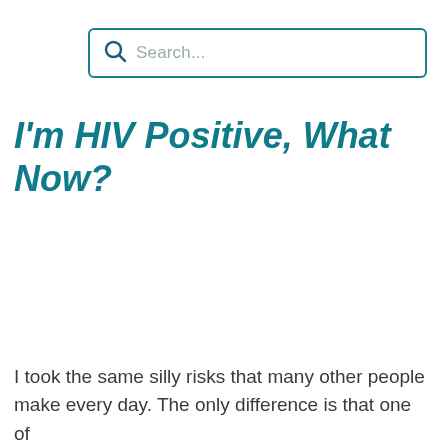[Figure (screenshot): Search bar with magnifying glass icon and placeholder text 'Search...' inside a rounded rectangle border in teal color]
I'm HIV Positive, What Now?
I took the same silly risks that many other people make every day. The only difference is that one of